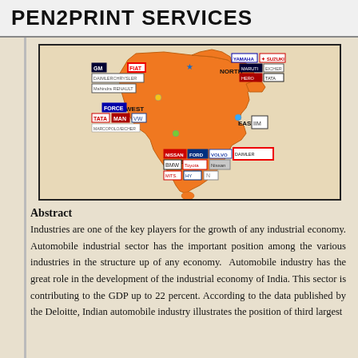PEN2PRINT SERVICES
[Figure (map): Map of India showing automobile industry brand logos distributed across North, South, East, and West regions. Brands shown include GM, FIAT, DaimlerChrysler, Mahindra Renault, Force, Tata, MAN, VW/Eicher (West/North), Yamaha, Suzuki, Maruti, Eicher, Hero, TVS, Tata (North), IIM logo (East), Nissan, Ford, Volvo, BMW, Toyota, Nissan, Mitsubishi, Hyundai (South), and others.]
Abstract
Industries are one of the key players for the growth of any industrial economy. Automobile industrial sector has the important position among the various industries in the structure up of any economy. Automobile industry has the great role in the development of the industrial economy of India. This sector is contributing to the GDP up to 22 percent. According to the data published by the Deloitte, Indian automobile industry illustrates the position of third largest...